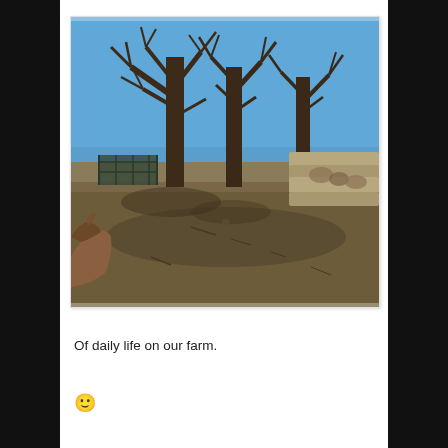[Figure (photo): Outdoor farm scene with bare leafless trees against a clear blue sky. In the background there is a metal livestock pen/corral on the left and a wooden fence/log pile on the right. The ground is dry dirt. In the lower left corner, part of a brown animal (likely a cow or dog) is visible at the edge of the frame.]
Of daily life on our farm.
🙂